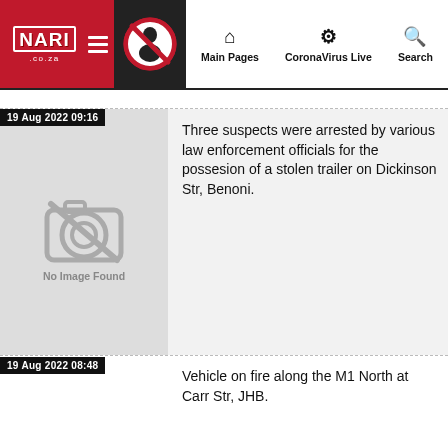[Figure (screenshot): Navigation header with NARI logo, hamburger menu, no-stacking badge icon, and nav items: Main Pages, CoronaVirus Live, Search]
19 Aug 2022 09:16
[Figure (illustration): No Image Found placeholder with camera icon crossed out]
Three suspects were arrested by various law enforcement officials for the possesion of a stolen trailer on Dickinson Str, Benoni.
19 Aug 2022 08:48
Vehicle on fire along the M1 North at Carr Str, JHB.